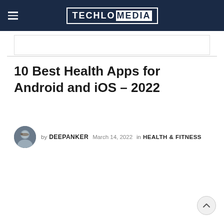TECHLO MEDIA
10 Best Health Apps for Android and iOS – 2022
by DEEPANKER   March 14, 2022   in HEALTH & FITNESS